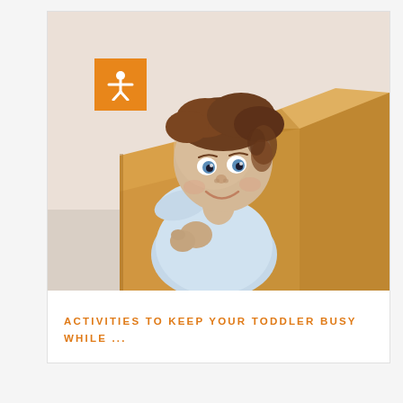[Figure (photo): A smiling toddler with curly brown hair and blue eyes peeking over the edge of a large open cardboard box, wearing a light blue shirt. The background is a soft beige/cream color.]
ACTIVITIES TO KEEP YOUR TODDLER BUSY WHILE ...